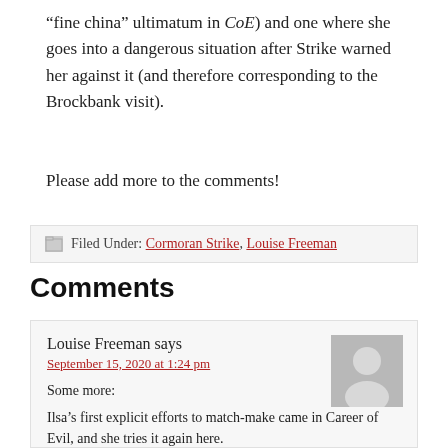“fine china” ultimatum in CoE) and one where she goes into a dangerous situation after Strike warned her against it (and therefore corresponding to the Brockbank visit).
Please add more to the comments!
Filed Under: Cormoran Strike, Louise Freeman
Comments
Louise Freeman says
September 15, 2020 at 1:24 pm
Some more:
Ilsa’s first explicit efforts to match-make came in Career of Evil, and she tries it again here.
Robin confided in Strike about her rape when she was drunk in Career of Evil. Here, Strike gets drunk and manipulates Robin into revealing her rape to someone she would have preferred not know.
Robin has to look up information about unusual sexual fetishes.